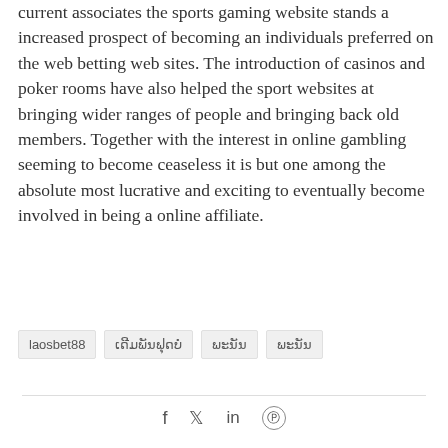current associates the sports gaming website stands a increased prospect of becoming an individuals preferred on the web betting web sites. The introduction of casinos and poker rooms have also helped the sport websites at bringing wider ranges of people and bringing back old members. Together with the interest in online gambling seeming to become ceaseless it is but one among the absolute most lucrative and exciting to eventually become involved in being a online affiliate.
laosbet88
ເດີມພັນຟຸດບໍ
ພະນັນ
ພະນັນ